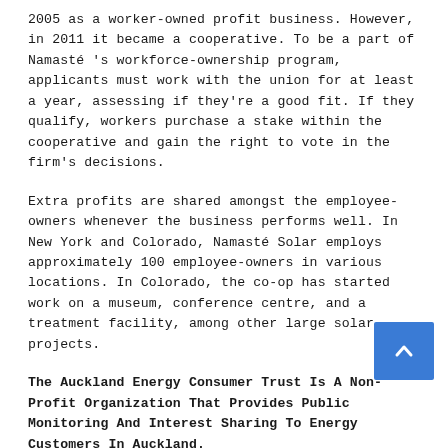2005 as a worker-owned profit business. However, in 2011 it became a cooperative. To be a part of Namasté 's workforce-ownership program, applicants must work with the union for at least a year, assessing if they're a good fit. If they qualify, workers purchase a stake within the cooperative and gain the right to vote in the firm's decisions.
Extra profits are shared amongst the employee-owners whenever the business performs well. In New York and Colorado, Namasté Solar employs approximately 100 employee-owners in various locations. In Colorado, the co-op has started work on a museum, conference centre, and a treatment facility, among other large solar projects.
The Auckland Energy Consumer Trust Is A Non-Profit Organization That Provides Public Monitoring And Interest Sharing To Energy Customers In Auckland.
Government services need appropriate public supervision to guarantee that the companies that run them don't abuse their monopolistic statuses to raise prices for the people they serve. Aside from regulatory monitoring, establishing trusts, which place energy utilities in the care of energy customers, is another approach to preventing such abuse.